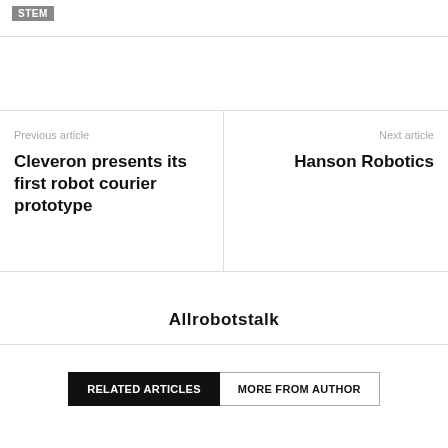STEM
Previous article
Cleveron presents its first robot courier prototype
Next article
Hanson Robotics
Allrobotstalk
RELATED ARTICLES   MORE FROM AUTHOR